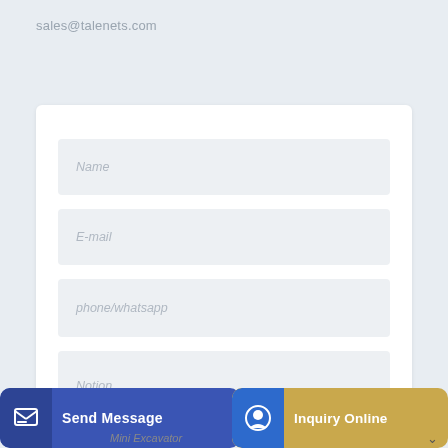sales@talenets.com
[Figure (screenshot): Contact form with fields: Name, E-mail, phone/whatsapp, Notion]
Send Message
Inquiry Online
Mini Excavator